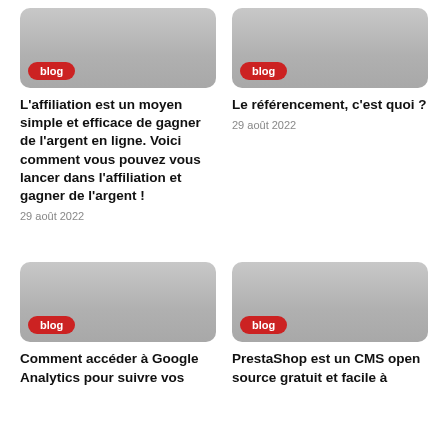[Figure (other): Blog card image with gray gradient background and red 'blog' badge]
L'affiliation est un moyen simple et efficace de gagner de l'argent en ligne. Voici comment vous pouvez vous lancer dans l'affiliation et gagner de l'argent !
29 août 2022
[Figure (other): Blog card image with gray gradient background and red 'blog' badge]
Le référencement, c'est quoi ?
29 août 2022
[Figure (other): Blog card image with gray gradient background and red 'blog' badge]
Comment accéder à Google Analytics pour suivre vos
[Figure (other): Blog card image with gray gradient background and red 'blog' badge]
PrestaShop est un CMS open source gratuit et facile à